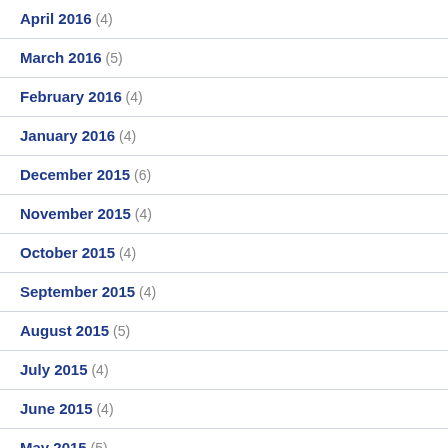April 2016 (4)
March 2016 (5)
February 2016 (4)
January 2016 (4)
December 2015 (6)
November 2015 (4)
October 2015 (4)
September 2015 (4)
August 2015 (5)
July 2015 (4)
June 2015 (4)
May 2015 (5)